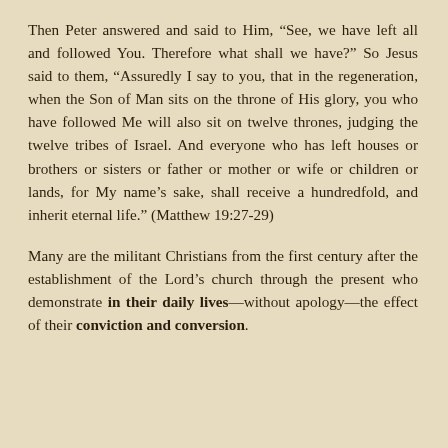Then Peter answered and said to Him, “See, we have left all and followed You. Therefore what shall we have?” So Jesus said to them, “Assuredly I say to you, that in the regeneration, when the Son of Man sits on the throne of His glory, you who have followed Me will also sit on twelve thrones, judging the twelve tribes of Israel. And everyone who has left houses or brothers or sisters or father or mother or wife or children or lands, for My name’s sake, shall receive a hundredfold, and inherit eternal life.” (Matthew 19:27-29)
Many are the militant Christians from the first century after the establishment of the Lord’s church through the present who demonstrate in their daily lives—without apology—the effect of their conviction and conversion.